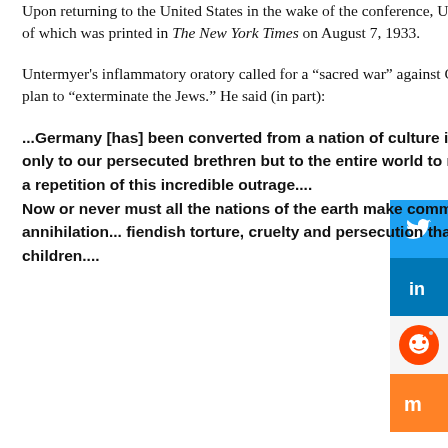Upon returning to the United States in the wake of the conference, Untermyer delivered a speech over WABC Radio (New York), a transcript of which was printed in The New York Times on August 7, 1933.
Untermyer's inflammatory oratory called for a “sacred war” against Germany, making the flat-out allegation that Germany was engaged in a plan to “exterminate the Jews.” He said (in part):
...Germany [has] been converted from a nation of culture into a veritable hell of cruel and savage beasts. We owe it not only to our persecuted brethren but to the entire world to now strike in self-defense a blow that will free humanity from a repetition of this incredible outrage.... Now or never must all the nations of the earth make common cause against the... slaughter, starvation and annihilation... fiendish torture, cruelty and persecution that are being inflicted day by day upon these men, women and children....